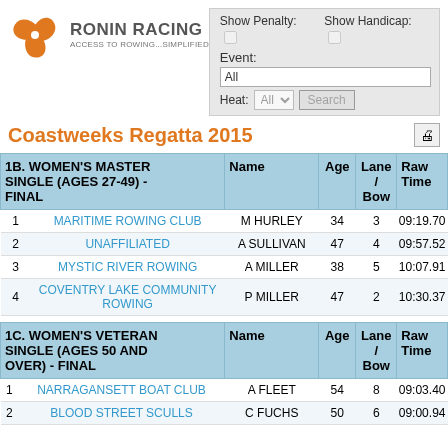[Figure (logo): Ronin Racing logo with orange spiral and text 'RONIN RACING / ACCESS TO ROWING...SIMPLIFIED']
Show Penalty: [ ]  Show Handicap: [ ]
Event:
All
Heat: All  Search
Coastweeks Regatta 2015
|  | Club | Name | Age | Lane / Bow | Raw Time |
| --- | --- | --- | --- | --- | --- |
| 1B. WOMEN'S MASTER SINGLE (AGES 27-49) - FINAL |  |  |  |  |  |
| 1 | MARITIME ROWING CLUB | M HURLEY | 34 | 3 | 09:19.70 |
| 2 | UNAFFILIATED | A SULLIVAN | 47 | 4 | 09:57.52 |
| 3 | MYSTIC RIVER ROWING | A MILLER | 38 | 5 | 10:07.91 |
| 4 | COVENTRY LAKE COMMUNITY ROWING | P MILLER | 47 | 2 | 10:30.37 |
|  | Club | Name | Age | Lane / Bow | Raw Time |
| --- | --- | --- | --- | --- | --- |
| 1C. WOMEN'S VETERAN SINGLE (AGES 50 AND OVER) - FINAL |  |  |  |  |  |
| 1 | NARRAGANSETT BOAT CLUB | A FLEET | 54 | 8 | 09:03.40 |
| 2 | BLOOD STREET SCULLS | C FUCHS | 50 | 6 | 09:00.94 |